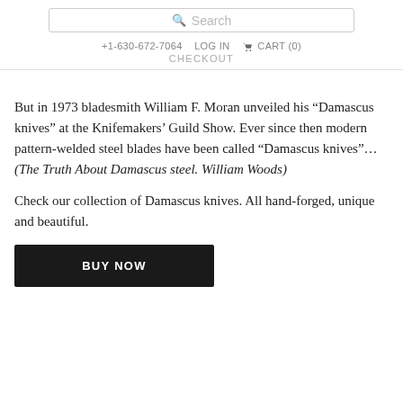Search | +1-630-672-7064 | LOG IN | CART (0) | CHECKOUT
But in 1973 bladesmith William F. Moran unveiled his “Damascus knives” at the Knifemakers’ Guild Show. Ever since then modern pattern-welded steel blades have been called “Damascus knives”… (The Truth About Damascus steel. William Woods)
Check our collection of Damascus knives. All hand-forged, unique and beautiful.
BUY NOW